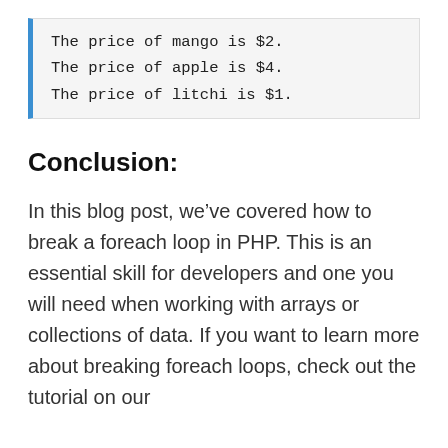The price of mango is $2.
The price of apple is $4.
The price of litchi is $1.
Conclusion:
In this blog post, we’ve covered how to break a foreach loop in PHP. This is an essential skill for developers and one you will need when working with arrays or collections of data. If you want to learn more about breaking foreach loops, check out the tutorial on our